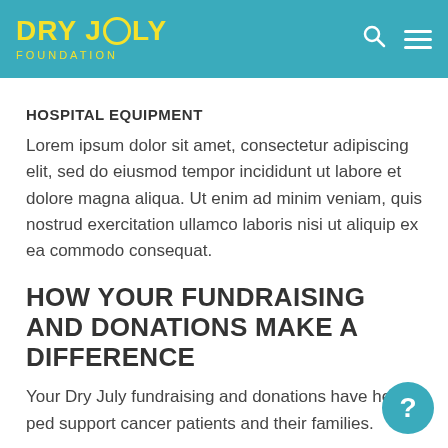DRY JULY FOUNDATION
HOSPITAL EQUIPMENT
Lorem ipsum dolor sit amet, consectetur adipiscing elit, sed do eiusmod tempor incididunt ut labore et dolore magna aliqua. Ut enim ad minim veniam, quis nostrud exercitation ullamco laboris nisi ut aliquip ex ea commodo consequat.
HOW YOUR FUNDRAISING AND DONATIONS MAKE A DIFFERENCE
Your Dry July fundraising and donations have helped support cancer patients and their families.